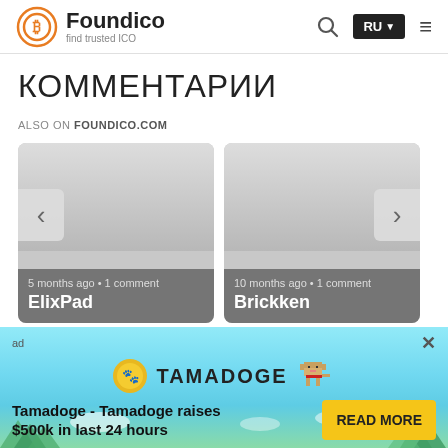Foundico - find trusted ICO
КОММЕНТАРИИ
ALSO ON FOUNDICO.COM
[Figure (screenshot): Two article cards. Left card: '5 months ago • 1 comment' with title 'ElixPad'. Right card: '10 months ago • 1 comment' with title 'Brickken'. Navigation arrows on left and right of carousel.]
[Figure (infographic): Tamadoge advertisement banner with light blue background, Tamadoge logo and dog mascot, text 'Tamadoge - Tamadoge raises $500k in last 24 hours', and a yellow 'READ MORE' button.]